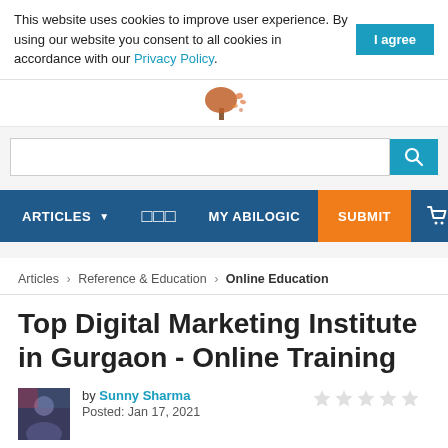This website uses cookies to improve user experience. By using our website you consent to all cookies in accordance with our Privacy Policy.
[Figure (logo): Autumn tree logo with orange leaves]
[Figure (screenshot): Search bar with teal search button]
ARTICLES | grid icon | MY ABILOGIC | SUBMIT | cart icon
Articles > Reference & Education > Online Education
Top Digital Marketing Institute in Gurgaon - Online Training
by Sunny Sharma
Posted: Jan 17, 2021